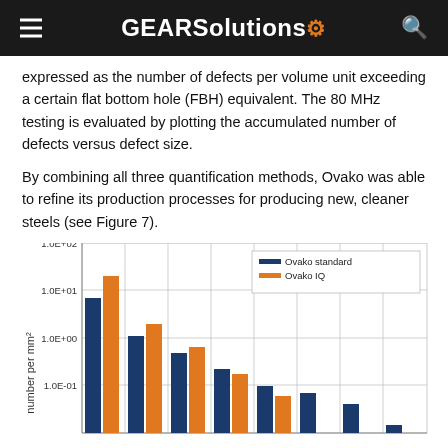GEARSolutions
expressed as the number of defects per volume unit exceeding a certain flat bottom hole (FBH) equivalent. The 80 MHz testing is evaluated by plotting the accumulated number of defects versus defect size.
By combining all three quantification methods, Ovako was able to refine its production processes for producing new, cleaner steels (see Figure 7).
[Figure (bar-chart): ]